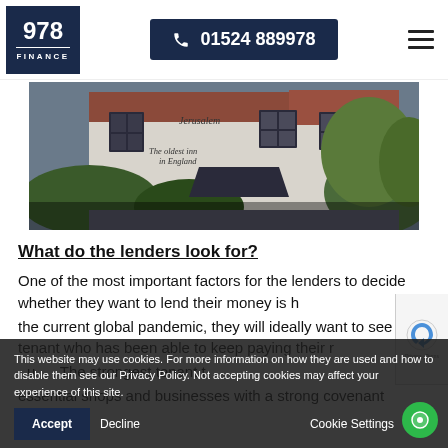978 FINANCE | 01524 889978
[Figure (photo): Exterior photo of a white historic English inn building with sign reading 'Jerusalem' and 'The oldest inn in England', surrounded by hedges and trees]
What do the lenders look for?
One of the most important factors for the lenders to decide whether they want to lend their money is how the current global pandemic, they will ideally want to see a tenant who has been able to keep paying their. The strongest tenant the essential shops and businesses with a strong covenant
This website may use cookies. For more information on how they are used and how to disable them see our Privacy Policy. Not accepting cookies may affect your experience of this site.